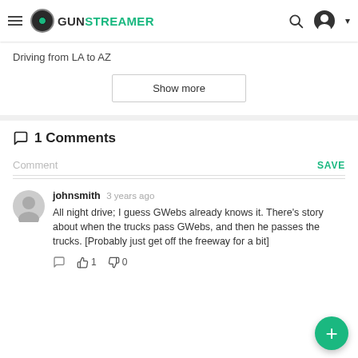GUNSTREAMER
Driving from LA to AZ
Show more
1 Comments
Comment   SAVE
johnsmith 3 years ago
All night drive; I guess GWebs already knows it. There's story about when the trucks pass GWebs, and then he passes the trucks. [Probably just get off the freeway for a bit]
1   0